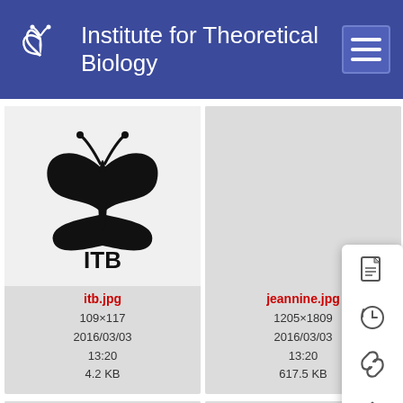Institute for Theoretical Biology
[Figure (screenshot): File browser grid showing ITB logo image tile (itb.jpg, 109×117, 2016/03/03 13:20, 4.2 KB), jeannine.jpg tile (1205×1809, 2016/03/03 13:20, 617.5 KB), julia tile (partially visible), map_inv43... tile, mmm2015... PDF tile, mmmst... PDF tile with blue selected state, and a context menu overlay with icons.]